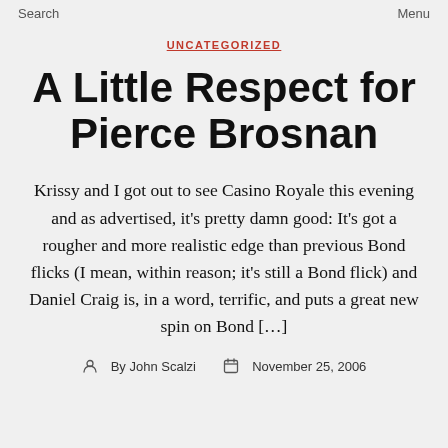Search    Menu
UNCATEGORIZED
A Little Respect for Pierce Brosnan
Krissy and I got out to see Casino Royale this evening and as advertised, it’s pretty damn good: It’s got a rougher and more realistic edge than previous Bond flicks (I mean, within reason; it’s still a Bond flick) and Daniel Craig is, in a word, terrific, and puts a great new spin on Bond […]
By John Scalzi  November 25, 2006